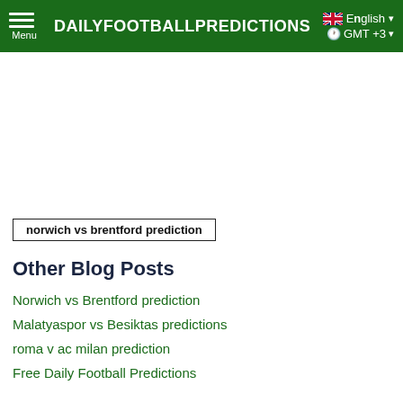DAILYFOOTBALLPREDICTIONS
norwich vs brentford prediction
Other Blog Posts
Norwich vs Brentford prediction
Malatyaspor vs Besiktas predictions
roma v ac milan prediction
Free Daily Football Predictions